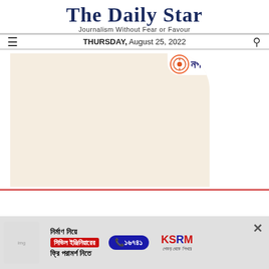The Daily Star
Journalism Without Fear or Favour
THURSDAY, August 25, 2022
[Figure (advertisement): Nagad mobile banking advertisement with cream/peach background and rounded top-right corner, Nagad logo in top right corner]
[Figure (advertisement): Bottom banner advertisement for KSRM steel: Bengali text 'নির্মাণ নিয়ে', red box with Bengali text 'সিভিল ইঞ্জিনিয়ারের', phone number ১৬৭৪১, KSRM logo with Bengali tagline 'শেকড় থেকে শিখরে', close button X]